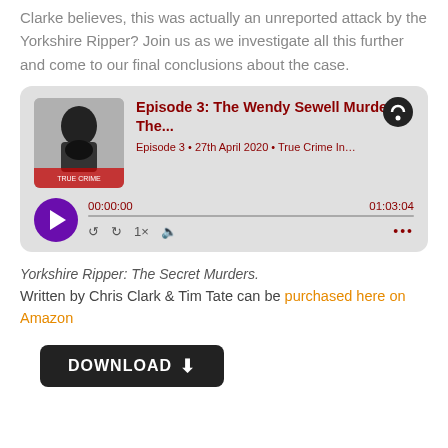Clarke believes, this was actually an unreported attack by the Yorkshire Ripper? Join us as we investigate all this further and come to our final conclusions about the case.
[Figure (screenshot): Podcast player card showing Episode 3: The Wendy Sewell Murder - The... Episode 3 • 27th April 2020 • True Crime In... with play button, time 00:00:00 / 01:03:04, and playback controls. Castbox logo visible top right.]
Yorkshire Ripper: The Secret Murders.
Written by Chris Clark & Tim Tate can be purchased here on Amazon
[Figure (screenshot): Black DOWNLOAD button with down arrow icon]